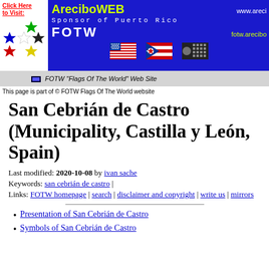[Figure (other): AreciboWEB banner with colored stars, flags, and FOTW website sponsor branding on blue background]
FOTW "Flags Of The World" Web Site
This page is part of © FOTW Flags Of The World website
San Cebrián de Castro (Municipality, Castilla y León, Spain)
Last modified: 2020-10-08 by ivan sache
Keywords: san cebrián de castro |
Links: FOTW homepage | search | disclaimer and copyright | write us | mirrors
Presentation of San Cebrián de Castro
Symbols of San Cebrián de Castro